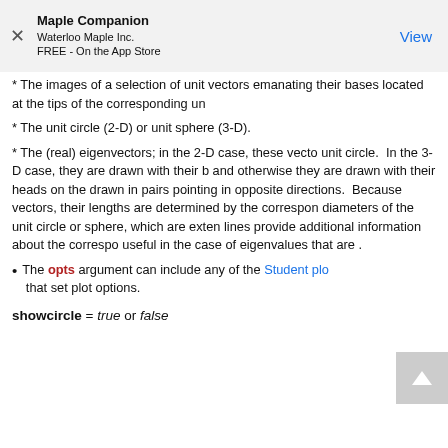Maple Companion
Waterloo Maple Inc.
FREE - On the App Store
View
* The images of a selection of unit vectors emanating their bases located at the tips of the corresponding un
* The unit circle (2-D) or unit sphere (3-D).
* The (real) eigenvectors; in the 2-D case, these vecto unit circle. In the 3-D case, they are drawn with their b and otherwise they are drawn with their heads on the drawn in pairs pointing in opposite directions. Because vectors, their lengths are determined by the correspon diameters of the unit circle or sphere, which are exten lines provide additional information about the correspo useful in the case of eigenvalues that are .
• The opts argument can include any of the Student plo that set plot options.
showcircle = true or false